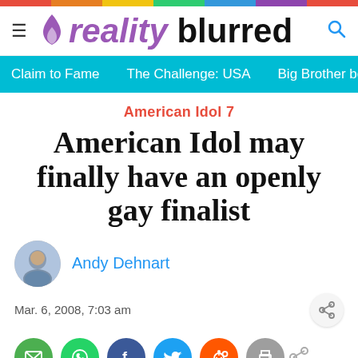[Figure (logo): Reality Blurred website logo with flame icon, hamburger menu and search icon]
Claim to Fame   The Challenge: USA   Big Brother behi...
American Idol 7
American Idol may finally have an openly gay finalist
Andy Dehnart
Mar. 6, 2008, 7:03 am
0 SHARES